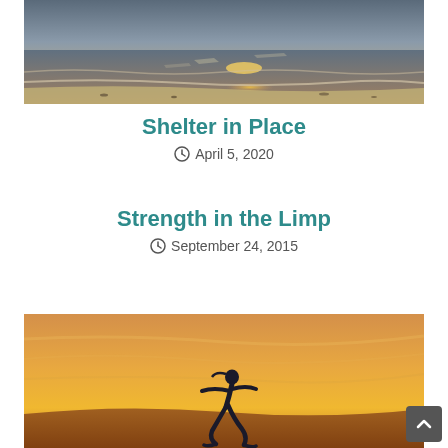[Figure (photo): Beach at dusk with waves on the shore and reflections of golden light on the water]
Shelter in Place
April 5, 2020
Strength in the Limp
September 24, 2015
[Figure (photo): Silhouette of a person running or leaping against an orange sunset sky]